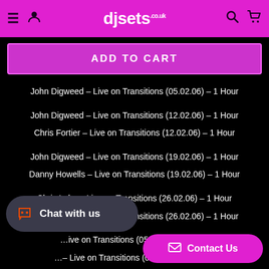djsets.co.uk
ADD TO CART
John Digweed – Live on Transitions (05.02.06) – 1 Hour
John Digweed – Live on Transitions (12.02.06) – 1 Hour
Chris Fortier – Live on Transitions (12.02.06) – 1 Hour
John Digweed – Live on Transitions (19.02.06) – 1 Hour
Danny Howells – Live on Transitions (19.02.06) – 1 Hour
Chris Lake – Live on Transitions (26.02.06) – 1 Hour
John Digweed – Live on Transitions (26.02.06) – 1 Hour
… Live on Transitions (05.03.06) – 1 Hour
… Live on Transitions (05.03.06) – 1 Hour
John Digweed – Live on Transitions (1…
Chat with us
Contact Us